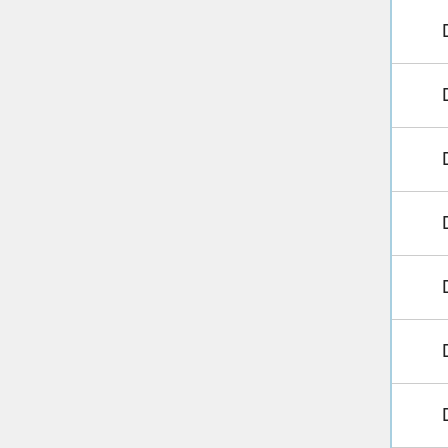DebugStatModeBandwidth
DebugStatModeBoundMem
DebugStatModeChildAgents
DebugStatModeFPS
DebugStatModeFormattedMem
DebugStatModeGLMem
DebugStatModeKTrisDrawnFr